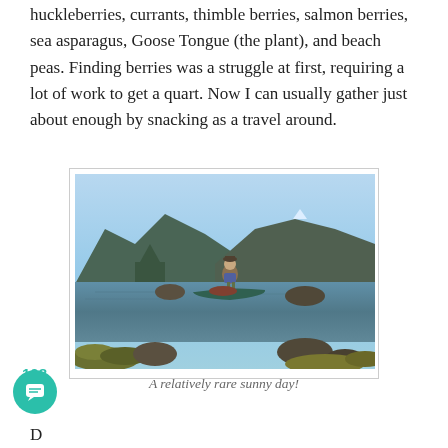huckleberries, currants, thimble berries, salmon berries, sea asparagus, Goose Tongue (the plant), and beach peas. Finding berries was a struggle at first, requiring a lot of work to get a quart. Now I can usually gather just about enough by snacking as a travel around.
[Figure (photo): A person standing next to a canoe on rocky shoreline with calm water and forested mountains in the background on a clear sunny day.]
A relatively rare sunny day!
108
D...